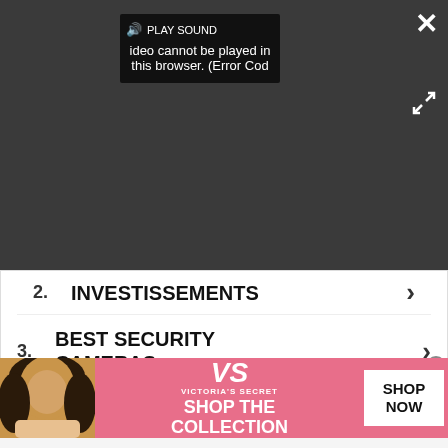[Figure (screenshot): Video player showing an error message overlay with dark background. Controls show a speaker/sound icon with 'PLAY SOUND' text. Error text reads: 'ideo cannot be played in this browser. (Error Cod'. A close (X) button is in the top right. An expand icon is in the bottom right.]
2. INVESTISSEMENTS ›
3. BEST SECURITY CAMERAS ›
Ad | Glocal Search
[Figure (screenshot): Victoria's Secret advertisement banner with pink background. Shows a woman model on the left, Victoria's Secret logo in the center, 'SHOP THE COLLECTION' text, and a 'SHOP NOW' white button on the right. A small close circle button in top right corner.]